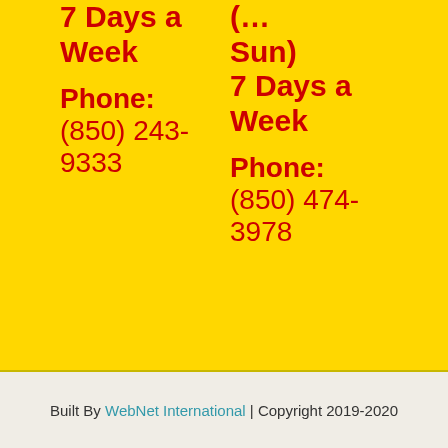7 Days a Week
Phone: (850) 243-9333
(... Sun) 7 Days a Week
Phone: (850) 474-3978
Built By WebNet International | Copyright 2019-2020